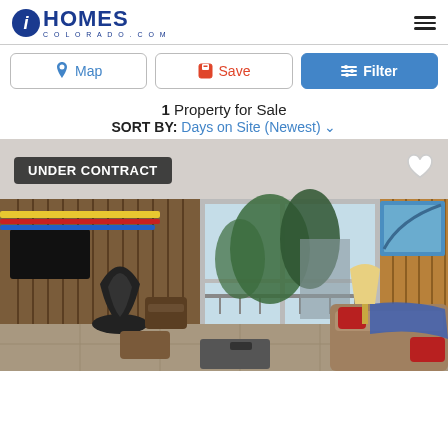iHOMES COLORADO.COM
Map | Save | Filter
1 Property for Sale
SORT BY: Days on Site (Newest)
[Figure (photo): Interior living room photo of a Colorado condo/property for sale, showing wood slat walls, a black mid-century modern fireplace, sliding glass doors to a balcony with pine trees visible outside, skis mounted on wall, TV, brown sofas with red pillows, and a blue throw blanket. Badge reads UNDER CONTRACT.]